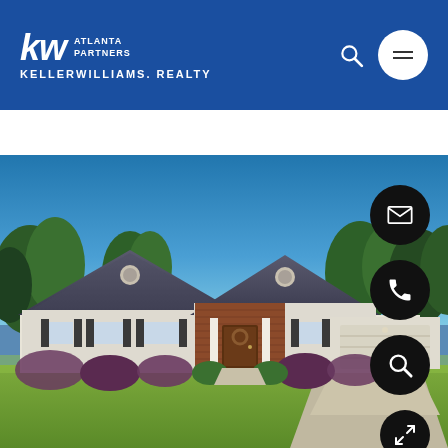[Figure (logo): Keller Williams Atlanta Partners logo — white KW letters with ATLANTA PARTNERS text and KELLERWILLIAMS. REALTY below, on blue background]
[Figure (photo): Exterior photo of a single-story ranch-style home with gray roof, white vinyl siding, brick accent entryway, two-car garage, green lawn, dark shutters, and blue sky with trees in background]
[Figure (other): Four circular black action buttons on the right side: email (envelope icon), phone (phone icon), search (magnifying glass icon), and expand/fullscreen (arrows icon)]